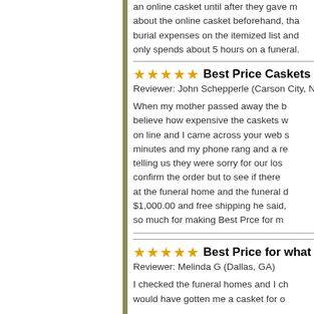an online casket until after they gave me about the online casket beforehand, tha burial expenses on the itemized list and only spends about 5 hours on a funeral.
★★★★★ Best Price Caskets is the
Reviewer: John Schepperle (Carson City, N
When my mother passed away the b believe how expensive the caskets w on line and I came across your web s minutes and my phone rang and a re telling us they were sorry for our los confirm the order but to see if there at the funeral home and the funeral d $1,000.00 and free shipping he said, so much for making Best Prce for m
★★★★★ Best Price for what I wa
Reviewer: Melinda G (Dallas, GA)
I checked the funeral homes and I ch would have gotten me a casket for o